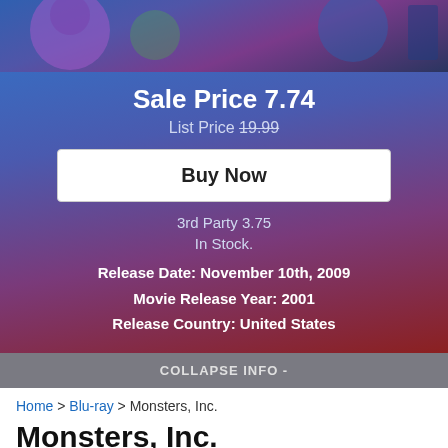[Figure (photo): Movie poster/banner image for Monsters, Inc. showing animated monster characters on a blue-purple background]
Sale Price 7.74
List Price 19.99
Buy Now
3rd Party 3.75
In Stock.
Release Date: November 10th, 2009
Movie Release Year: 2001
Release Country: United States
COLLAPSE INFO -
Home > Blu-ray > Monsters, Inc.
Monsters, Inc.
Review Date November 9th, 2009 by Aaron Peck
OVERALL ★★★★★ MUST OWN